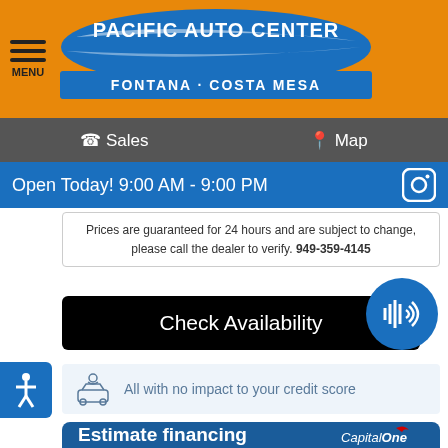[Figure (logo): Pacific Auto Center logo - Fontana Costa Mesa, on orange background with menu icon]
Sales   Map
Open Today! 9:00 AM - 9:00 PM
Prices are guaranteed for 24 hours and are subject to change, please call the dealer to verify. 949-359-4145
Check Availability
All with no impact to your credit score
Estimate financing
Click to Call
Leave a message